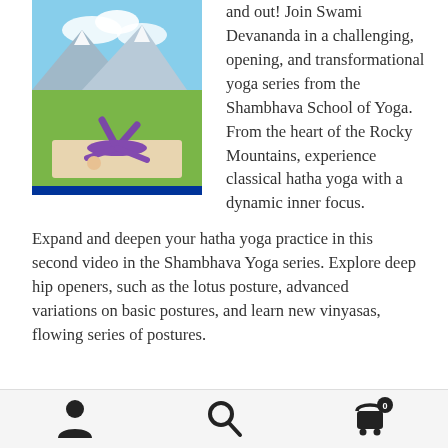[Figure (photo): Woman in purple doing a yoga backbend pose on a mat outdoors in a mountain meadow with blue sky and clouds in background]
and out! Join Swami Devananda in a challenging, opening, and transformational yoga series from the Shambhava School of Yoga. From the heart of the Rocky Mountains, experience classical hatha yoga with a dynamic inner focus.
Expand and deepen your hatha yoga practice in this second video in the Shambhava Yoga series. Explore deep hip openers, such as the lotus posture, advanced variations on basic postures, and learn new vinyasas, flowing series of postures.
Navigation footer with person, search, and cart icons